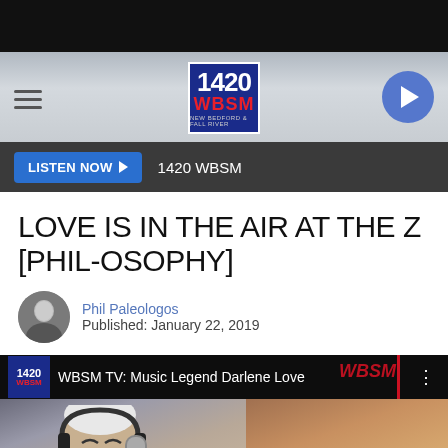[Figure (screenshot): Black top bar]
[Figure (logo): 1420 WBSM radio station header with hamburger menu on left, 1420 WBSM logo in center, and play button circle on right]
LISTEN NOW ▶   1420 WBSM
LOVE IS IN THE AIR AT THE Z [PHIL-OSOPHY]
Phil Paleologos
Published: January 22, 2019
[Figure (screenshot): Video thumbnail showing WBSM TV: Music Legend Darlene Love with host laughing at microphone on left and woman with auburn hair on right, with play button overlay]